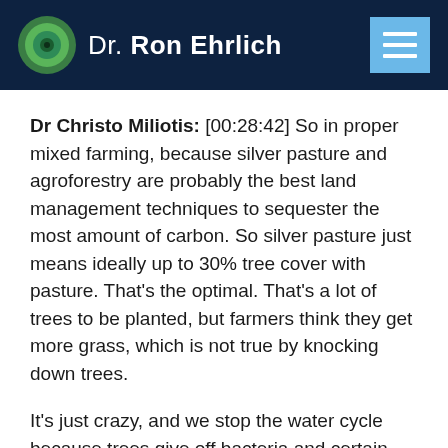Dr. Ron Ehrlich
Dr Christo Miliotis: [00:28:42] So in proper mixed farming, because silver pasture and agroforestry are probably the best land management techniques to sequester the most amount of carbon. So silver pasture just means ideally up to 30% tree cover with pasture. That’s the optimal. That’s a lot of trees to be planted, but farmers think they get more grass, which is not true by knocking down trees.
It’s just crazy, and we stop the water cycle because trees give off bacteria and certain